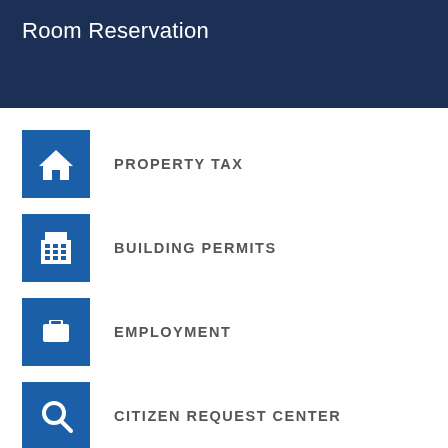Room Reservation
PROPERTY TAX
BUILDING PERMITS
EMPLOYMENT
CITIZEN REQUEST CENTER
PARKS & REC